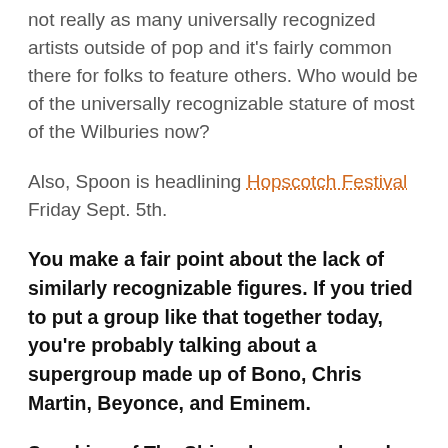not really as many universally recognized artists outside of pop and it's fairly common there for folks to feature others. Who would be of the universally recognizable stature of most of the Wilburies now?
Also, Spoon is headlining Hopscotch Festival Friday Sept. 5th.
You make a fair point about the lack of similarly recognizable figures. If you tried to put a group like that together today, you're probably talking about a supergroup made up of Bono, Chris Martin, Beyonce, and Eminem.
Speaking of The Shins, have you heard any of the